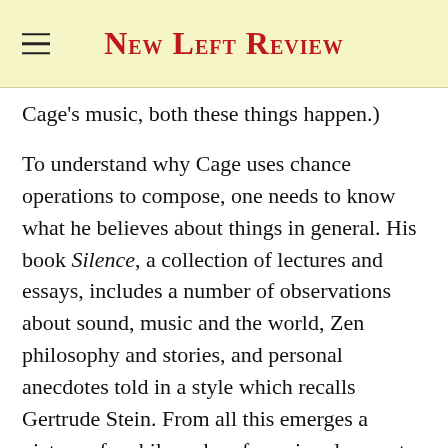New Left Review
Cage's music, both these things happen.)
To understand why Cage uses chance operations to compose, one needs to know what he believes about things in general. His book Silence, a collection of lectures and essays, includes a number of observations about sound, music and the world, Zen philosophy and stories, and personal anecdotes told in a style which recalls Gertrude Stein. From all this emerges a picture of a philosophy of non-involvement which is at least consistent in a bizarre way.
He is fond of the concept of sound being its own...